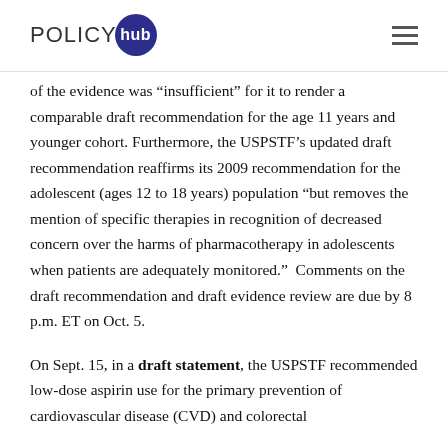POLICY hub
of the evidence was “insufficient” for it to render a comparable draft recommendation for the age 11 years and younger cohort. Furthermore, the USPSTF’s updated draft recommendation reaffirms its 2009 recommendation for the adolescent (ages 12 to 18 years) population “but removes the mention of specific therapies in recognition of decreased concern over the harms of pharmacotherapy in adolescents when patients are adequately monitored.”  Comments on the draft recommendation and draft evidence review are due by 8 p.m. ET on Oct. 5.
On Sept. 15, in a draft statement, the USPSTF recommended low-dose aspirin use for the primary prevention of cardiovascular disease (CVD) and colorectal